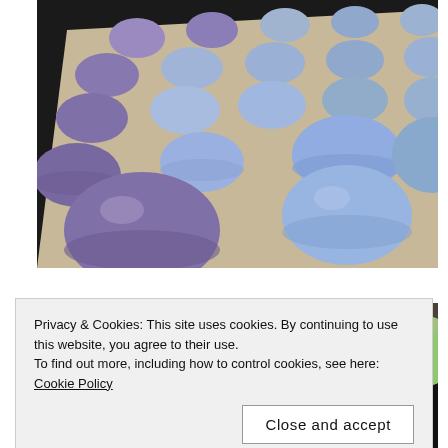[Figure (photo): Tray of purple and blue macaron shells on parchment paper on a dark baking sheet, photographed from an angle]
[Figure (photo): Partially visible second photo below the cookie banner, showing colorful macarons]
Privacy & Cookies: This site uses cookies. By continuing to use this website, you agree to their use.
To find out more, including how to control cookies, see here: Cookie Policy
Close and accept